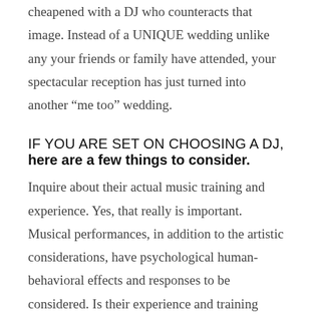cheapened with a DJ who counteracts that image. Instead of a UNIQUE wedding unlike any your friends or family have attended, your spectacular reception has just turned into another “me too” wedding.
IF YOU ARE SET ON CHOOSING A DJ, here are a few things to consider.
Inquire about their actual music training and experience. Yes, that really is important. Musical performances, in addition to the artistic considerations, have psychological human-behavioral effects and responses to be considered. Is their experience and training anything beyond playing a radio, liking music,